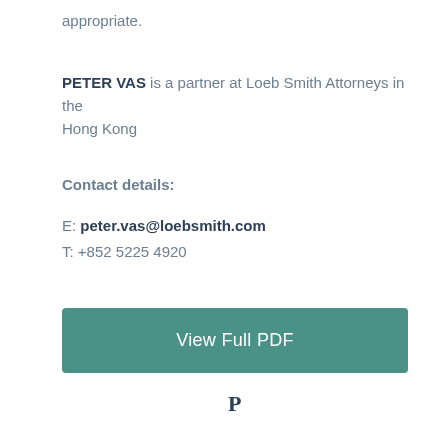appropriate.
PETER VAS is a partner at Loeb Smith Attorneys in the Hong Kong
Contact details:
E: peter.vas@loebsmith.com
T: +852 5225 4920
View Full PDF
P